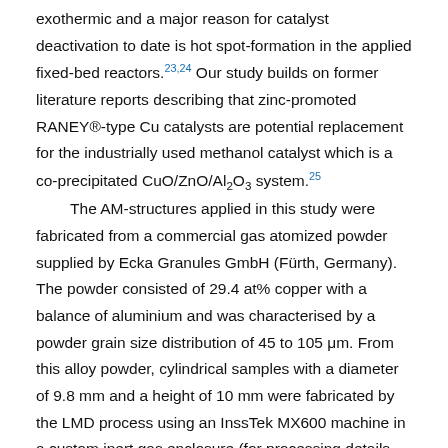exothermic and a major reason for catalyst deactivation to date is hot spot-formation in the applied fixed-bed reactors.23,24 Our study builds on former literature reports describing that zinc-promoted RANEY®-type Cu catalysts are potential replacement for the industrially used methanol catalyst which is a co-precipitated CuO/ZnO/Al2O3 system.25 The AM-structures applied in this study were fabricated from a commercial gas atomized powder supplied by Ecka Granules GmbH (Fürth, Germany). The powder consisted of 29.4 at% copper with a balance of aluminium and was characterised by a powder grain size distribution of 45 to 105 μm. From this alloy powder, cylindrical samples with a diameter of 9.8 mm and a height of 10 mm were fabricated by the LMD process using an InssTek MX600 machine in a custom inert gas enclosure (for processing details see ESI†). High resolution SEM-images and phase analysis were carried out using a Helios NanoLab 600i system. Both dendrite thickness and ligament diameters were determined using image processing software. The